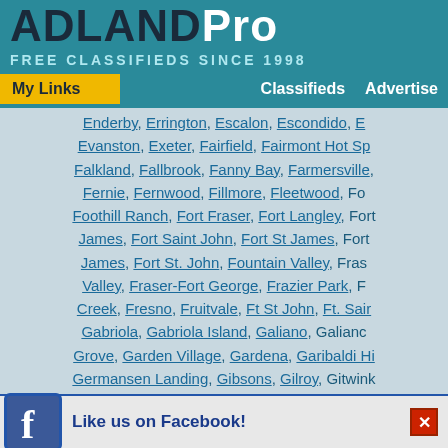ADLANDPro - FREE CLASSIFIEDS SINCE 1998
My Links | Classifieds | Advertise
Enderby, Errington, Escalon, Escondido, Evanston, Exeter, Fairfield, Fairmont Hot Springs, Falkland, Fallbrook, Fanny Bay, Farmersville, Fernie, Fernwood, Fillmore, Fleetwood, Foothill Ranch, Fort Fraser, Fort Langley, Fort James, Fort Saint John, Fort St James, Fort James, Fort St. John, Fountain Valley, Fraser Valley, Fraser-Fort George, Frazier Park, Creek, Fresno, Fruitvale, Ft St John, Ft. Saint Gabriola, Gabriola Island, Galiano, Galiano Grove, Garden Village, Gardena, Garibaldi Highlands, Germansen Landing, Gibsons, Gilroy, Gitwinksihlkw, Glendora, Glenmore, Glennville, Golden, Goleta, Good Hope, Granada Hills, Grand Forks, Grandview, Granisle, Granville Island, Grass Valley, Greater Vancouver, Greater Vancouver Regional, Greektown Vancouver, Greenfield, Greenview, Grindrod, Groundbirch, Guatay, Guildford, Hammond, Hanford, Harbor City, Harrison Hot Springs, Mills, Hartman Road, Hastings-Sunrise, Hatzic, Gardens, Hawthorne, Hayward, Hoffley Creek, Hesperia, Highway 11, Hollis, Houston
Like us on Facebook!